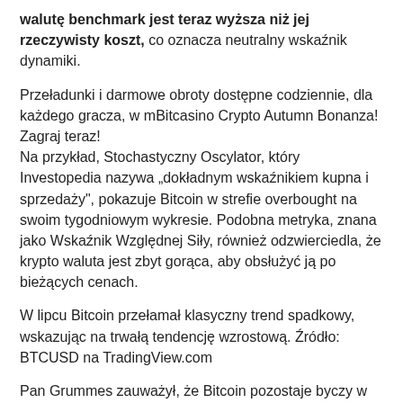walutę benchmark jest teraz wyższa niż jej rzeczywisty koszt, co oznacza neutralny wskaźnik dynamiki.
Przeładunki i darmowe obroty dostępne codziennie, dla każdego gracza, w mBitcasino Crypto Autumn Bonanza! Zagraj teraz!
Na przykład, Stochastyczny Oscylator, który Investopedia nazywa „dokładnym wskaźnikiem kupna i sprzedaży", pokazuje Bitcoin w strefie overbought na swoim tygodniowym wykresie. Podobna metryka, znana jako Wskaźnik Względnej Siły, również odzwierciedla, że krypto waluta jest zbyt gorąca, aby obsłużyć ją po bieżących cenach.
W lipcu Bitcoin przełamał klasyczny trend spadkowy, wskazując na trwałą tendencję wzrostową. Źródło: BTCUSD na TradingView.com
Pan Grummes zauważył, że Bitcoin pozostaje byczy w swoich tygodniowych ramach czasowych, wskazując na długoterminowy trend wzrostowy, który powinien nastąpić w 2021 roku. Z tym powiedział, że analityk powiedział, że krypto